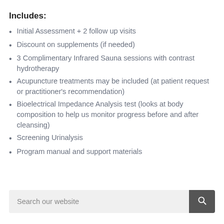Includes:
Initial Assessment + 2 follow up visits
Discount on supplements (if needed)
3 Complimentary Infrared Sauna sessions with contrast hydrotherapy
Acupuncture treatments may be included (at patient request or practitioner's recommendation)
Bioelectrical Impedance Analysis test (looks at body composition to help us monitor progress before and after cleansing)
Screening Urinalysis
Program manual and support materials
Search our website